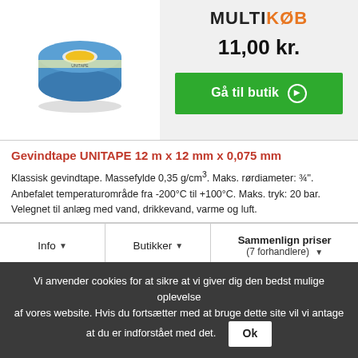[Figure (photo): A roll of blue and yellow PTFE thread seal tape (gevindtape UNITAPE)]
MULTIKØB
11,00 kr.
Gå til butik ➔
Gevindtape UNITAPE 12 m x 12 mm x 0,075 mm
Klassisk gevindtape. Massefylde 0,35 g/cm³. Maks. rørdiameter: ¾". Anbefalet temperaturområde fra -200°C til +100°C. Maks. tryk: 20 bar. Velegnet til anlæg med vand, drikkevand, varme og luft.
Info ▼
Butikker ▼
Sammenlign priser (7 forhandlere) ▼
Vi anvender cookies for at sikre at vi giver dig den bedst mulige oplevelse af vores website. Hvis du fortsætter med at bruge dette site vil vi antage at du er indforstået med det. Ok